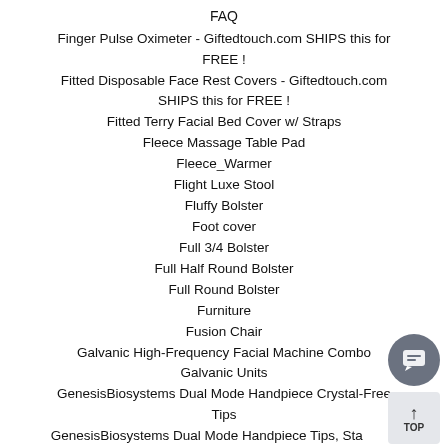FAQ
Finger Pulse Oximeter - Giftedtouch.com SHIPS this for FREE !
Fitted Disposable Face Rest Covers - Giftedtouch.com SHIPS this for FREE !
Fitted Terry Facial Bed Cover w/ Straps
Fleece Massage Table Pad
Fleece_Warmer
Flight Luxe Stool
Fluffy Bolster
Foot cover
Full 3/4 Bolster
Full Half Round Bolster
Full Round Bolster
Furniture
Fusion Chair
Galvanic High-Frequency Facial Machine Combo
Galvanic Units
GenesisBiosystems Dual Mode Handpiece Crystal-Free Tips
GenesisBiosystems Dual Mode Handpiece Tips, Standard Crystal 45 degrees
German-made Ionto HF SL High Frequency Unit - Giftedtouch.com SHIPS this for FREE !
GiftedTouch Delux Portable SalonTilt Top Treatment Table